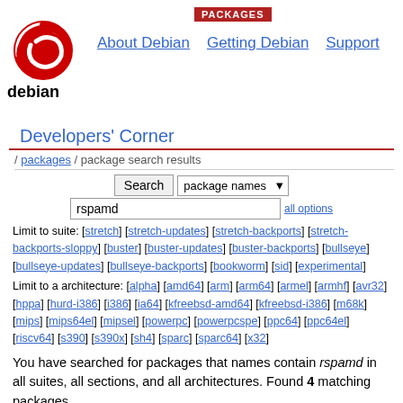PACKAGES
[Figure (logo): Debian swirl logo in red with 'debian' text below]
About Debian   Getting Debian   Support
Developers' Corner
/ packages / package search results
Search  package names  rspamd  all options
Limit to suite: [stretch] [stretch-updates] [stretch-backports] [stretch-backports-sloppy] [buster] [buster-updates] [buster-backports] [bullseye] [bullseye-updates] [bullseye-backports] [bookworm] [sid] [experimental]
Limit to a architecture: [alpha] [amd64] [arm] [arm64] [armel] [armhf] [avr32] [hppa] [hurd-i386] [i386] [ia64] [kfreebsd-amd64] [kfreebsd-i386] [m68k] [mips] [mips64el] [mipsel] [powerpc] [powerpcspe] [ppc64] [ppc64el] [riscv64] [s390] [s390x] [sh4] [sparc] [sparc64] [x32]
You have searched for packages that names contain rspamd in all suites, all sections, and all architectures. Found 4 matching packages.